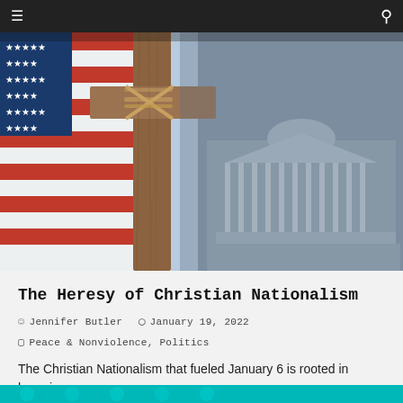Navigation bar with hamburger menu and search icon
[Figure (photo): A wooden cross tied with rope in front of an American flag on the left, with a desaturated image of the US Capitol building in the background on the right.]
The Heresy of Christian Nationalism
Jennifer Butler  January 19, 2022
Peace & Nonviolence, Politics
The Christian Nationalism that fueled January 6 is rooted in heresies.
[Figure (photo): Partial view of another article card at the bottom, teal/cyan colored background.]